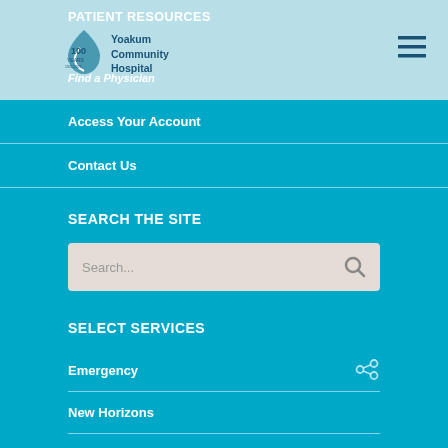PATIENT RESOURCES
[Figure (logo): Yoakum Community Hospital 100 Years logo with teal droplet/figure icon]
Find a Physician
Access Your Account
Contact Us
SEARCH THE SITE
Search...
SELECT SERVICES
Emergency
New Horizons